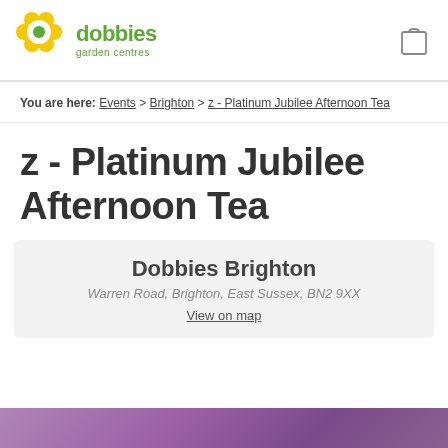dobbies garden centres — logo and shopping bag icon
You are here: Events > Brighton > z - Platinum Jubilee Afternoon Tea
z - Platinum Jubilee Afternoon Tea
Dobbies Brighton
Warren Road, Brighton, East Sussex, BN2 9XX
View on map
[Figure (photo): Purple/mauve gradient decorative image strip at the bottom of the page]